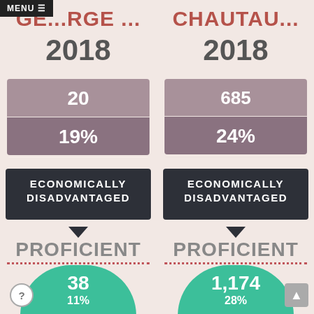GE...RGE ... 2018
CHAUTAU... 2018
20
19%
685
24%
ECONOMICALLY DISADVANTAGED
ECONOMICALLY DISADVANTAGED
PROFICIENT
PROFICIENT
38
11%
1,174
28%